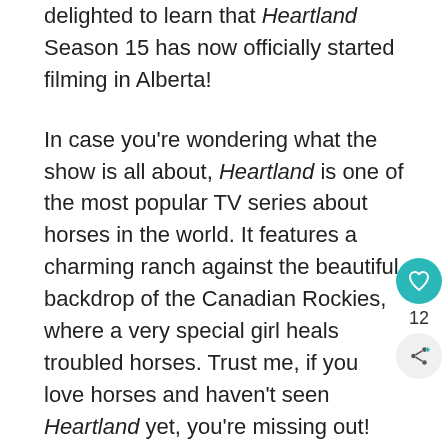delighted to learn that Heartland Season 15 has now officially started filming in Alberta!
In case you're wondering what the show is all about, Heartland is one of the most popular TV series about horses in the world. It features a charming ranch against the beautiful backdrop of the Canadian Rockies, where a very special girl heals troubled horses. Trust me, if you love horses and haven't seen Heartland yet, you're missing out!
The show has already aired 14 long and beautiful seasons, making Heartland